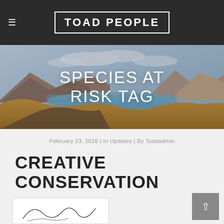TOAD PEOPLE
[Figure (photo): Scenic landscape with mountains, lake, and golden grassy foreground under cloudy sky]
SPECIES AT RISK TAG
February 23, 2016 | In Updates | By Toadadmin
CREATIVE CONSERVATION
[Figure (illustration): Partial view of a hand-drawn sketch or signature at the bottom of the page]